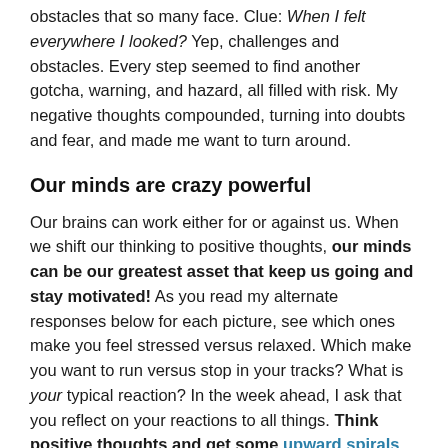obstacles that so many face. Clue: When I felt everywhere I looked? Yep, challenges and obstacles. Every step seemed to find another gotcha, warning, and hazard, all filled with risk. My negative thoughts compounded, turning into doubts and fear, and made me want to turn around.
Our minds are crazy powerful
Our brains can work either for or against us. When we shift our thinking to positive thoughts, our minds can be our greatest asset that keep us going and stay motivated! As you read my alternate responses below for each picture, see which ones make you feel stressed versus relaxed. Which make you want to run versus stop in your tracks? What is your typical reaction? In the week ahead, I ask that you reflect on your reactions to all things. Think positive thoughts and get some upward spirals started today!